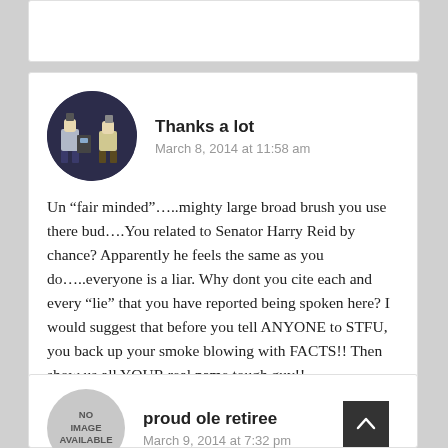Thanks a lot
March 8, 2014 at 11:58 am
Un “fair minded”…..mighty large broad brush you use there bud….You related to Senator Harry Reid by chance? Apparently he feels the same as you do…..everyone is a liar. Why dont you cite each and every “lie” that you have reported being spoken here? I would suggest that before you tell ANYONE to STFU, you back up your smoke blowing with FACTS!! Then show us all YOUR real name tough guy!!
proud ole retiree
March 9, 2014 at 7:32 pm